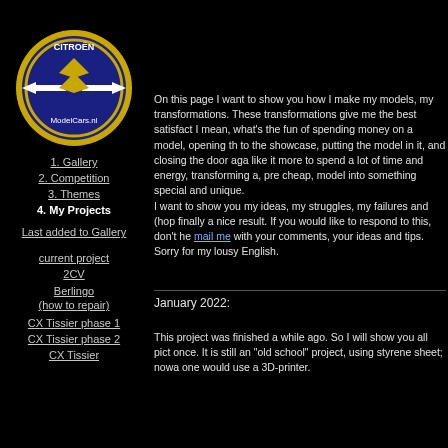<
My Mes
[Figure (logo): Citroen ModelCars.nl oval logo with blue background, gold border, Citroen chevron emblem and arrow]
1. Gallery
2. Competition
3. Themes
4. My Projects
Last added to Gallery
current project
2CV
Berlingo (how to repair)
CX Tissier phase 1
CX Tissier phase 2
CX Tissier
On this page I want to show you how I make my models, my transformations. These transformations give me the best satisfaction. I mean, what's the fun of spending money on a model, opening the to the showcase, putting the model in it, and closing the door again. like it more to spend a lot of time and energy, transforming a, pre cheap, model into something special and unique.
I want to show you my ideas, my struggles, my failures and (hopefully) finally a nice result. If you would like to respond to this, don't hesitate to mail me with your comments, your ideas and tips.
Sorry for my lousy English.
January 2022:
This project was finished a while ago. So I will show you all pictures at once. It is still an "old school" project, using styrene sheet; nowadays one would use a 3D-printer.